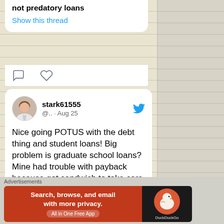about a lot of things but not predatory loans
Show this thread
[Figure (screenshot): Tweet by stark61555 on Aug 25: Nice going POTUS with the debt thing and student loans! Big problem is graduate school loans? Mine had trouble with payback because got sandwich to take care of father-in-law and husband right after grad school. Principle of loan? 37K]
Advertisements
[Figure (screenshot): DuckDuckGo advertisement banner: Search, browse, and email with more privacy. All in One Free App]